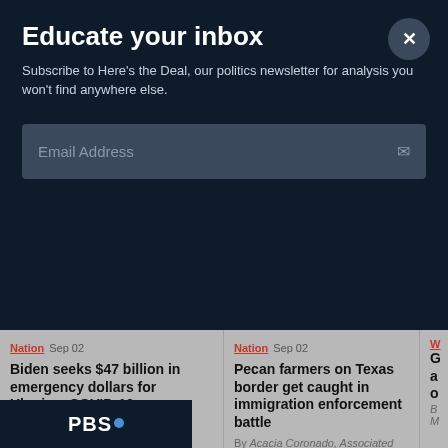Educate your inbox
Subscribe to Here's the Deal, our politics newsletter for analysis you won't find anywhere else.
Email Address
Nation  Sep 02
Biden seeks $47 billion in emergency dollars for Ukraine, COVID-19, monkeypox and natural disasters
By Mary Clare Jalonick, Associated Press
Nation  Sep 02
Pecan farmers on Texas border get caught in immigration enforcement battle
By Acacia Coronado, Associated Press
[Figure (logo): PBS logo with circular dot icon on dark navy background]